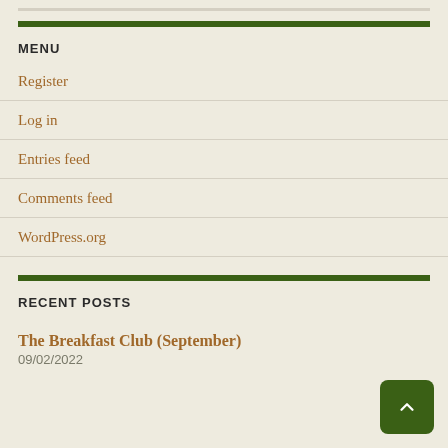MENU
Register
Log in
Entries feed
Comments feed
WordPress.org
RECENT POSTS
The Breakfast Club (September)
09/02/2022